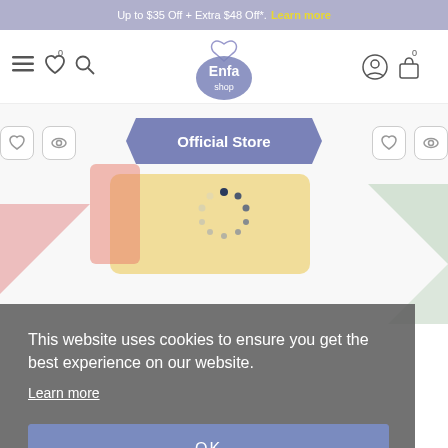Up to $35 Off + Extra $48 Off*. Learn more
[Figure (screenshot): Enfa Shop website navigation bar with hamburger menu, heart icon with badge 0, search icon, Enfa Shop logo (center), user account icon, and shopping bag icon with badge 0]
[Figure (screenshot): Official Store blue hexagonal banner, side buttons (heart and eye icons), product can image partially visible with loading spinner overlay]
This website uses cookies to ensure you get the best experience on our website.
Learn more
OK